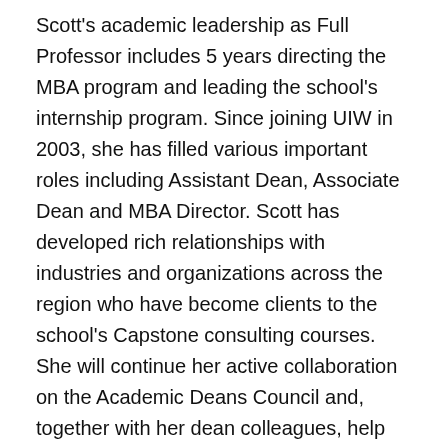Scott's academic leadership as Full Professor includes 5 years directing the MBA program and leading the school's internship program. Since joining UIW in 2003, she has filled various important roles including Assistant Dean, Associate Dean and MBA Director. Scott has developed rich relationships with industries and organizations across the region who have become clients to the school's Capstone consulting courses. She will continue her active collaboration on the Academic Deans Council and, together with her dean colleagues, help apply our Academic Master Plan process to guide UIW's academic future.
"Dr. Scott is a dedicated teacher and leader that lives the Mission of UIW with her students and fellow faculty," says UIW Provost Dr. Barbara Aranda-Naranjo. "We look forward to her leadership in continuing to build this successful program. HERSRA plays a vital role in